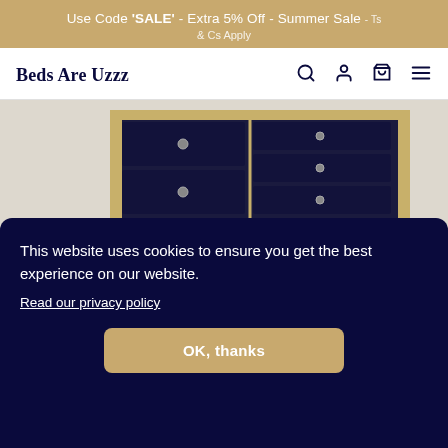Use Code 'SALE' - Extra 5% Off - Summer Sale - Ts & Cs Apply
Beds Are Uzzz
[Figure (photo): A dark navy blue chest of drawers with gold trim edging and circular metallic knobs on each drawer.]
This website uses cookies to ensure you get the best experience on our website.
Read our privacy policy
OK, thanks